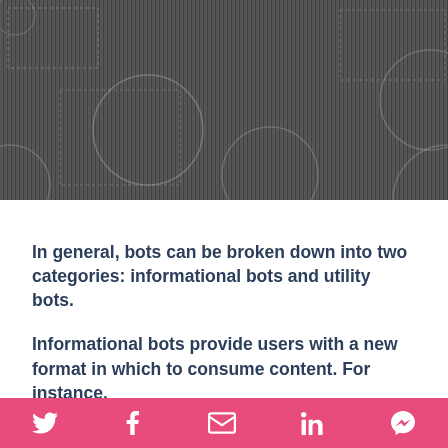[Figure (illustration): Dark gray textured background with vertical stripe pattern and faint dotted circle/rectangle outlines overlaid, used as a decorative header image.]
In general, bots can be broken down into two categories: informational bots and utility bots.
Informational bots provide users with a new format in which to consume content. For instance,
Social share icons: Twitter, Facebook, Email, LinkedIn, Messenger